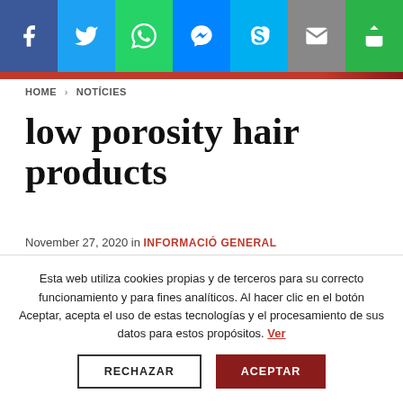[Figure (infographic): Social media sharing bar with icons: Facebook (blue), Twitter (light blue), WhatsApp (green), Messenger (blue), Skype (light blue), Email (grey), Share (green)]
HOME > NOTICIES
low porosity hair products
November 27, 2020 in INFORMACIÓ GENERAL
Esta web utiliza cookies propias y de terceros para su correcto funcionamiento y para fines analíticos. Al hacer clic en el botón Aceptar, acepta el uso de estas tecnologías y el procesamiento de sus datos para estos propósitos. Ver
RECHAZAR   ACEPTAR